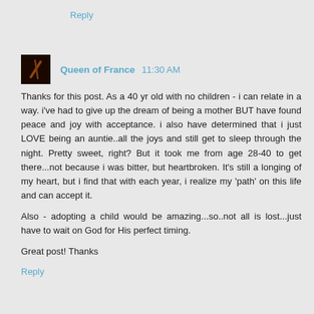Reply
Queen of France  11:30 AM
Thanks for this post. As a 40 yr old with no children - i can relate in a way. i've had to give up the dream of being a mother BUT have found peace and joy with acceptance. i also have determined that i just LOVE being an auntie..all the joys and still get to sleep through the night. Pretty sweet, right? But it took me from age 28-40 to get there...not because i was bitter, but heartbroken. It's still a longing of my heart, but i find that with each year, i realize my 'path' on this life and can accept it.

Also - adopting a child would be amazing...so..not all is lost...just have to wait on God for His perfect timing.

Great post! Thanks
Reply